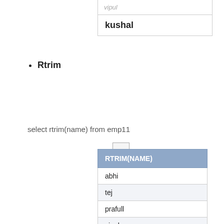| kushal |
Rtrim
select rtrim(name) from emp11
| RTRIM(NAME) |
| --- |
| abhi |
| tej |
| prafull |
| vipul |
| kushal |